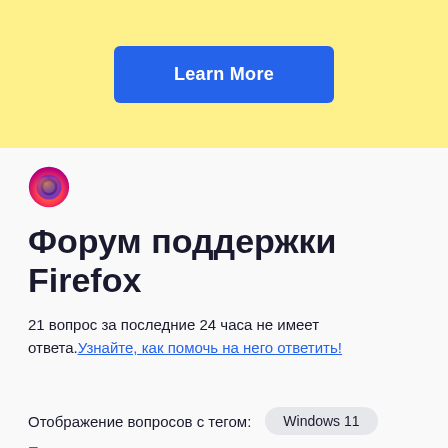[Figure (other): Yellow banner with blue 'Learn More' button]
[Figure (logo): Firefox flame logo icon]
Форум поддержки Firefox
21 вопрос за последние 24 часа не имеет ответа. Узнайте, как помочь на него ответить!
Отображение вопросов с тегом: Windows 11
Показать все вопросы